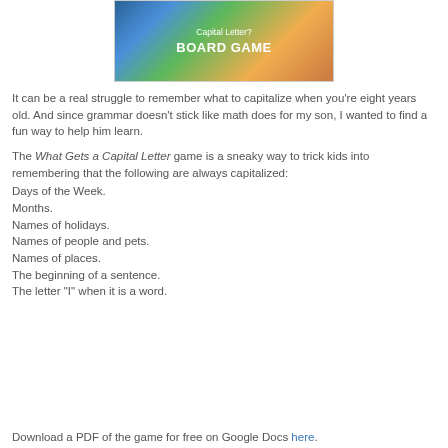[Figure (photo): Board game product image showing colorful game tiles with text 'Capital Letter?' and 'BOARD GAME' in bold white letters on a dark background with orange/wood texture]
It can be a real struggle to remember what to capitalize when you're eight years old. And since grammar doesn't stick like math does for my son, I wanted to find a fun way to help him learn.
The What Gets a Capital Letter game is a sneaky way to trick kids into remembering that the following are always capitalized:
Days of the Week.
Months.
Names of holidays.
Names of people and pets.
Names of places.
The beginning of a sentence.
The letter "I" when it is a word.
Download a PDF of the game for free on Google Docs here.